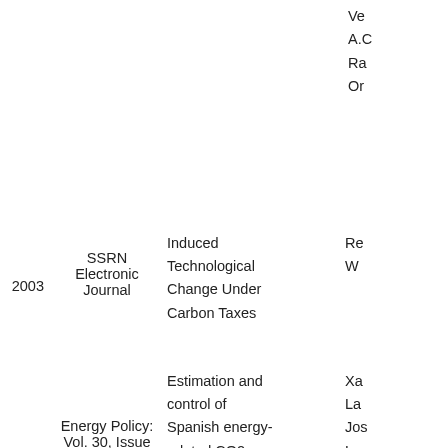| Year | Journal | Title | Authors |
| --- | --- | --- | --- |
|  |  | Ve...
A.C...
Ra...
Or... |  |
| 2003 | SSRN Electronic Journal | Induced Technological Change Under Carbon Taxes | Re...
W... |
| 2002 | Energy Policy: Vol. 30, Issue 7 | Estimation and control of Spanish energy-related CO2 emissions: an input–output approach | Xa...
La...
Jo...
La... |
| 2002 | SSRN Electronic Journal | Technological Change in Economic Models of... | An...
Lö... |